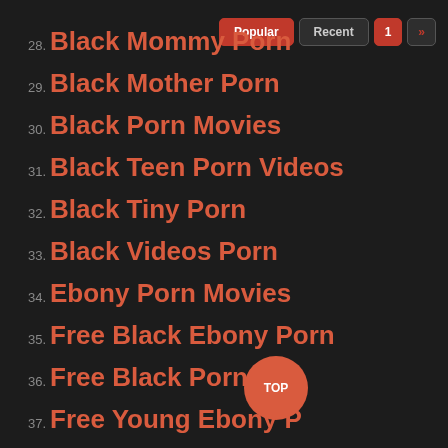28. Black Mommy Porn
29. Black Mother Porn
30. Black Porn Movies
31. Black Teen Porn Videos
32. Black Tiny Porn
33. Black Videos Porn
34. Ebony Porn Movies
35. Free Black Ebony Porn
36. Free Black Porn
37. Free Young Ebony P...